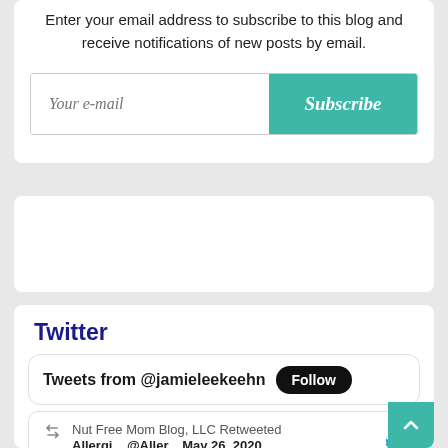Enter your email address to subscribe to this blog and receive notifications of new posts by email.
Your e-mail
Subscribe
Twitter
Tweets from @jamieleekeehn
Follow
Nut Free Mom Blog, LLC Retweeted
Allergi... @Aller... May 26, 2020